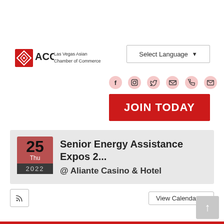[Figure (logo): ACC Las Vegas Asian Chamber of Commerce logo with red diamond shape and ACC text]
Select Language ▼
[Figure (infographic): Social media icons: Facebook, Instagram, Twitter, YouTube, Phone, Email on pink/red circle backgrounds]
JOIN TODAY
25
Thu
2022
Senior Energy Assistance Expos 2...
@ Aliante Casino & Hotel
View Calendar →